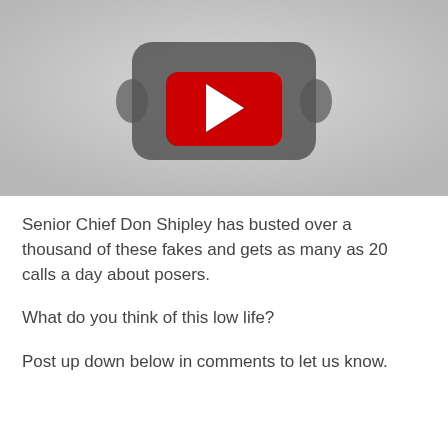[Figure (screenshot): YouTube video thumbnail placeholder showing a grey rounded rectangle with a red YouTube play button in the center, on a light grey background.]
Senior Chief Don Shipley has busted over a thousand of these fakes and gets as many as 20 calls a day about posers.
What do you think of this low life?
Post up down below in comments to let us know.